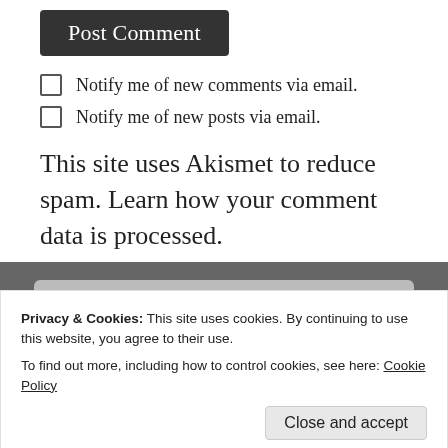Post Comment
Notify me of new comments via email.
Notify me of new posts via email.
This site uses Akismet to reduce spam. Learn how your comment data is processed.
Privacy & Cookies: This site uses cookies. By continuing to use this website, you agree to their use.
To find out more, including how to control cookies, see here: Cookie Policy
Close and accept
Women, Jerusalem, to Satan's Sinai-Gog, Sanhedrin